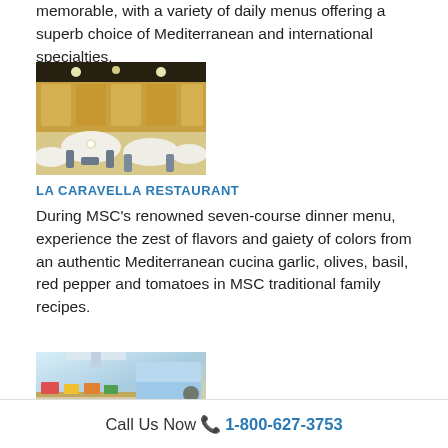memorable, with a variety of daily menus offering a superb choice of Mediterranean and international specialties.
[Figure (photo): Interior of La Caravella Restaurant showing elegantly set dining tables with white tablecloths in a warm, golden-lit cruise ship dining room.]
LA CARAVELLA RESTAURANT
During MSC's renowned seven-course dinner menu, experience the zest of flavors and gaiety of colors from an authentic Mediterranean cucina garlic, olives, basil, red pepper and tomatoes in MSC traditional family recipes.
[Figure (photo): Interior of a cruise ship buffet or casual dining area with modern bright lighting and colorful food displays.]
Call Us Now 📞 1-800-627-3753